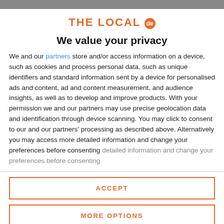THE LOCAL de
We value your privacy
We and our partners store and/or access information on a device, such as cookies and process personal data, such as unique identifiers and standard information sent by a device for personalised ads and content, ad and content measurement, and audience insights, as well as to develop and improve products. With your permission we and our partners may use precise geolocation data and identification through device scanning. You may click to consent to our and our partners' processing as described above. Alternatively you may access more detailed information and change your preferences before consenting
ACCEPT
MORE OPTIONS
German retailers report po...